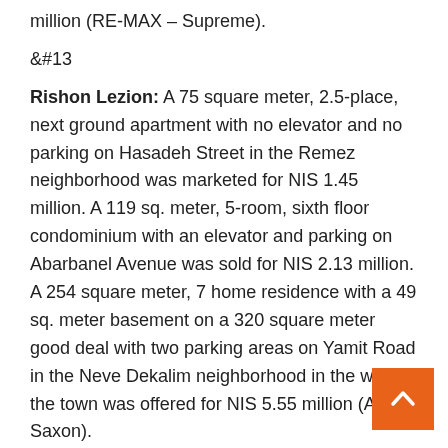million (RE-MAX – Supreme).
&#13
Rishon Lezion: A 75 square meter, 2.5-place, next ground apartment with no elevator and no parking on Hasadeh Street in the Remez neighborhood was marketed for NIS 1.45 million. A 119 sq. meter, 5-room, sixth floor condominium with an elevator and parking on Abarbanel Avenue was sold for NIS 2.13 million. A 254 square meter, 7 home residence with a 49 sq. meter basement on a 320 square meter good deal with two parking areas on Yamit Road in the Neve Dekalim neighborhood in the west of the town was offered for NIS 5.55 million (Anglo-Saxon).
&#13